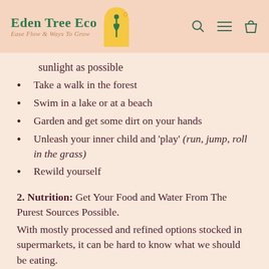Eden Tree Eco — Ease Flow & Ways To Grow
sunlight as possible
Take a walk in the forest
Swim in a lake or at a beach
Garden and get some dirt on your hands
Unleash your inner child and 'play' (run, jump, roll in the grass)
Rewild yourself
2. Nutrition: Get Your Food and Water From The Purest Sources Possible.
With mostly processed and refined options stocked in supermarkets, it can be hard to know what we should be eating.